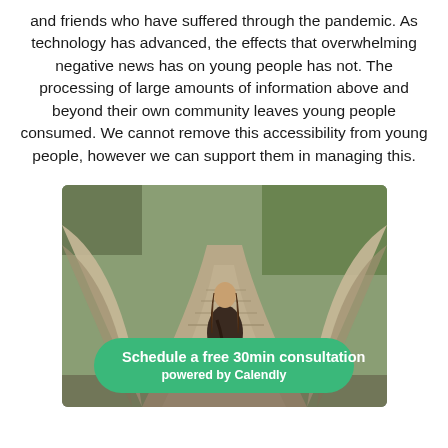and friends who have suffered through the pandemic. As technology has advanced, the effects that overwhelming negative news has on young people has not. The processing of large amounts of information above and beyond their own community leaves young people consumed. We cannot remove this accessibility from young people, however we can support them in managing this.
[Figure (photo): A person with long hair, seen from behind, walking on a wooden bridge/walkway, with green foliage in the background. A green call-to-action button overlays the bottom of the image reading 'Schedule a free 30min consultation powered by Calendly'.]